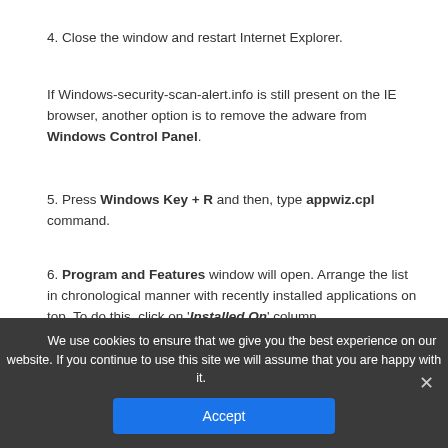4. Close the window and restart Internet Explorer.
If Windows-security-scan-alert.info is still present on the IE browser, another option is to remove the adware from Windows Control Panel.
5. Press Windows Key + R and then, type appwiz.cpl command.
6. Program and Features window will open. Arrange the list in chronological manner with recently installed applications on top. To do this, click on 'Installed On' column.
We use cookies to ensure that we give you the best experience on our website. If you continue to use this site we will assume that you are happy with it. [Accept]